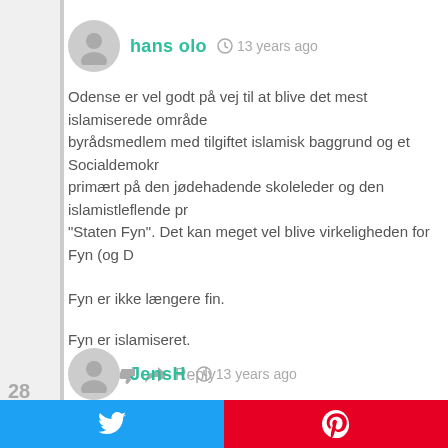[Figure (illustration): User avatar circle icon, gray, with silhouette person shape]
hans olo   13 years ago
Odense er vel godt på vej til at blive det mest islamiserede område... byrådsmedlem med tilgiftet islamisk baggrund og et Socialdemokr... primært på den jødehadende skoleleder og den islamistleflende pr... "Staten Fyn". Det kan meget vel blive virkeligheden for Fyn (og D...
Fyn er ikke længere fin.
Fyn er islamiseret.
0   Reply
[Figure (illustration): User avatar circle icon, gray, with silhouette person shape]
JensH   13 years ago
Twitter share button
Pinterest share button